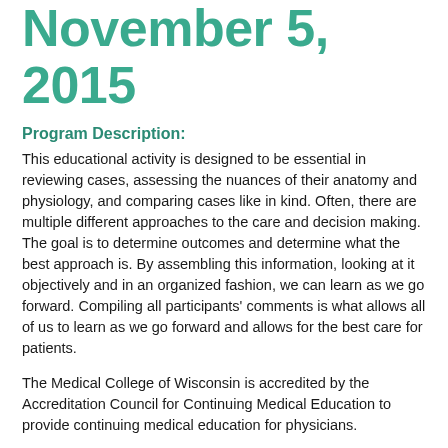November 5, 2015
Program Description:
This educational activity is designed to be essential in reviewing cases, assessing the nuances of their anatomy and physiology, and comparing cases like in kind. Often, there are multiple different approaches to the care and decision making. The goal is to determine outcomes and determine what the best approach is. By assembling this information, looking at it objectively and in an organized fashion, we can learn as we go forward. Compiling all participants' comments is what allows all of us to learn as we go forward and allows for the best care for patients.
The Medical College of Wisconsin is accredited by the Accreditation Council for Continuing Medical Education to provide continuing medical education for physicians.
The Medical College of Wisconsin designates this live